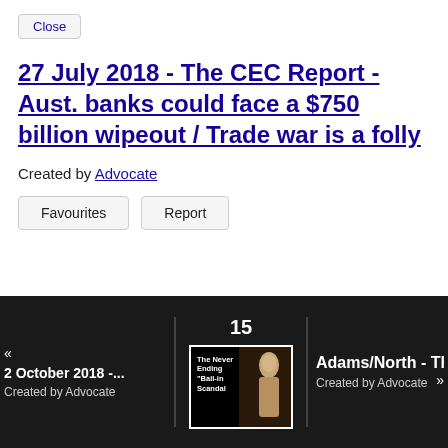Close
27 July 2018 - The CEC Report - Aust. banks could face a $750 billion wipeout / Trade war is a folly
Created by Advocate
Favourites  Report
2 October 2018 -...  Created by Advocate
15
[Figure (photo): Thumbnail image showing a statue and overlay text 'The Never Ending Bail-in Scandal' on dark background]
Adams/North - Th...  Created by Advocate